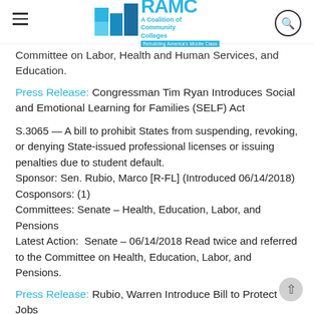RAMC — A Coalition of Community Colleges — Rebuilding America's Middle Class
Committee on La[bor, Health and Human Services, and Educat]ion.
Press Release: Congressman Tim Ryan Introduces Social and Emotional Learning for Families (SELF) Act
S.3065 — A bill to prohibit States from suspending, revoking, or denying State-issued professional licenses or issuing penalties due to student default. Sponsor: Sen. Rubio, Marco [R-FL] (Introduced 06/14/2018) Cosponsors: (1) Committees: Senate – Health, Education, Labor, and Pensions Latest Action:  Senate – 06/14/2018 Read twice and referred to the Committee on Health, Education, Labor, and Pensions.
Press Release: Rubio, Warren Introduce Bill to Protect Jo[bs] for Workers Who Fall Behind on Student Loan Payments